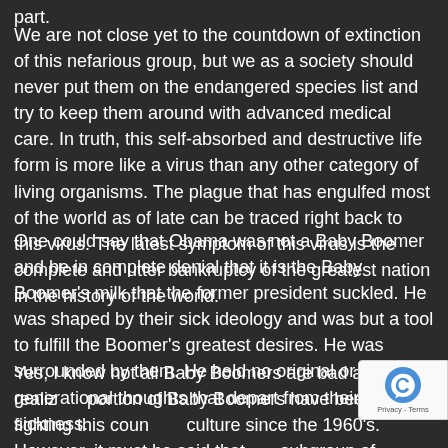part.
We are not close yet to the countdown of extinction of this nefarious group, but we as a society should never put them on the endangered species list and try to keep them around with advanced medical care. In truth, this self-absorbed and destructive life form is more like a virus than any other category of living organisms. The plague that has engulfed most of the world as of late can be traced right back to this virus. The latest symptom of this virus is the complete and utter bankruptcy of the greatest nation in the history of the world.
One could say that Obama was not a Baby Boomer and be in complete denial that it is the Baby Boomer's milk that the former president suckled. He was shaped by their sick ideology and was but a tool to fulfill the Boomer's greatest desires. He was surrounded by them. He held no original or generational thoughts that depart from their sickness.
Yes, I know not all Baby Boomers are bad and I realize a portion of Baby Boomers have been fighting this country's culture since the 1960's. However, it must be said that the subgroup of Boomers who have been fighting the good fight